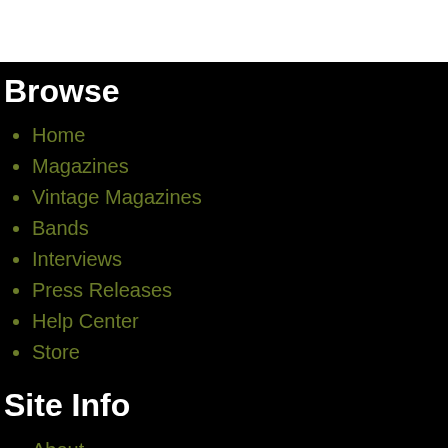Browse
Home
Magazines
Vintage Magazines
Bands
Interviews
Press Releases
Help Center
Store
Site Info
About
Privacy
Terms and Conditions
Site Map
Contact Us
Submit Press Release